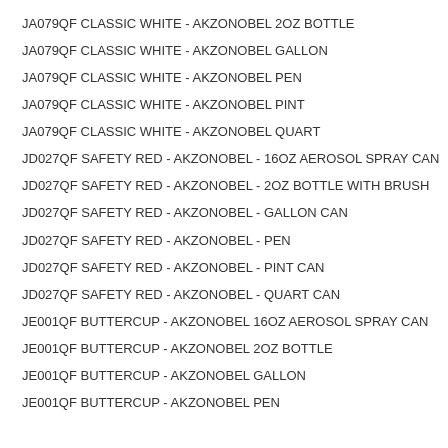JA079QF CLASSIC WHITE - AKZONOBEL 2OZ BOTTLE
JA079QF CLASSIC WHITE - AKZONOBEL GALLON
JA079QF CLASSIC WHITE - AKZONOBEL PEN
JA079QF CLASSIC WHITE - AKZONOBEL PINT
JA079QF CLASSIC WHITE - AKZONOBEL QUART
JD027QF SAFETY RED - AKZONOBEL - 16OZ AEROSOL SPRAY CAN
JD027QF SAFETY RED - AKZONOBEL - 2OZ BOTTLE WITH BRUSH
JD027QF SAFETY RED - AKZONOBEL - GALLON CAN
JD027QF SAFETY RED - AKZONOBEL - PEN
JD027QF SAFETY RED - AKZONOBEL - PINT CAN
JD027QF SAFETY RED - AKZONOBEL - QUART CAN
JE001QF BUTTERCUP - AKZONOBEL 16OZ AEROSOL SPRAY CAN
JE001QF BUTTERCUP - AKZONOBEL 2OZ BOTTLE
JE001QF BUTTERCUP - AKZONOBEL GALLON
JE001QF BUTTERCUP - AKZONOBEL PEN